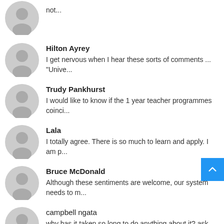not...
Hilton Ayrey
I get nervous when I hear these sorts of comments ... "Unive...
Trudy Pankhurst
I would like to know if the 1 year teacher programmes coinci...
Lala
I totally agree. There is so much to learn and apply. I am p...
Bruce McDonald
Although these sentiments are welcome, our system needs to m...
campbell ngata
why has it taken so long to do anything about it? ask any